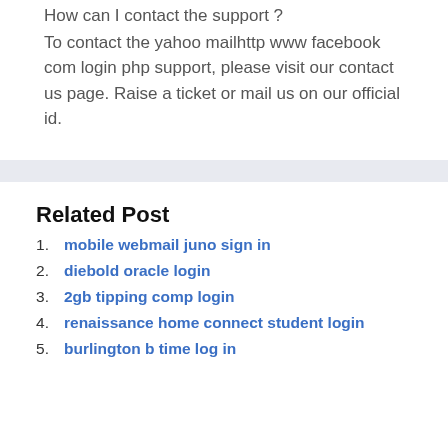How can I contact the support ?
To contact the yahoo mailhttp www facebook com login php support, please visit our contact us page. Raise a ticket or mail us on our official id.
Related Post
mobile webmail juno sign in
diebold oracle login
2gb tipping comp login
renaissance home connect student login
burlington b time log in